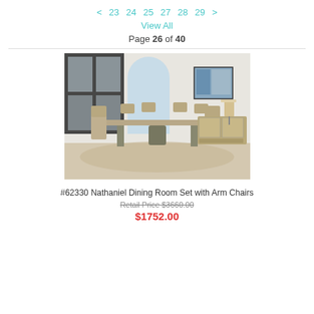< 23 24 25 27 28 29 >
View All
Page 26 of 40
[Figure (photo): Dining room set with a large rectangular table, chairs with upholstered seats, a sideboard/buffet with glass doors, a table lamp, and artwork on the wall. Room has large black-framed windows and light wood floors.]
#62330 Nathaniel Dining Room Set with Arm Chairs
Retail Price $3660.00
$1752.00